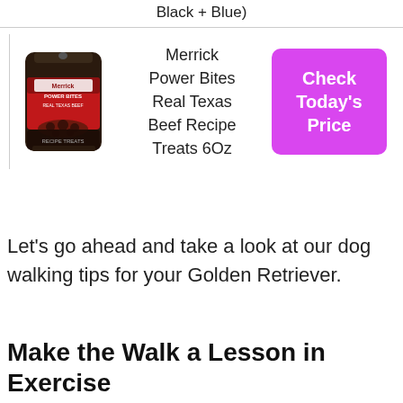Black + Blue)
[Figure (photo): Merrick Power Bites Real Texas Beef Recipe Treats product bag (red and black packaging)]
Merrick Power Bites Real Texas Beef Recipe Treats 6Oz
Check Today's Price
Let's go ahead and take a look at our dog walking tips for your Golden Retriever.
Make the Walk a Lesson in Exercise